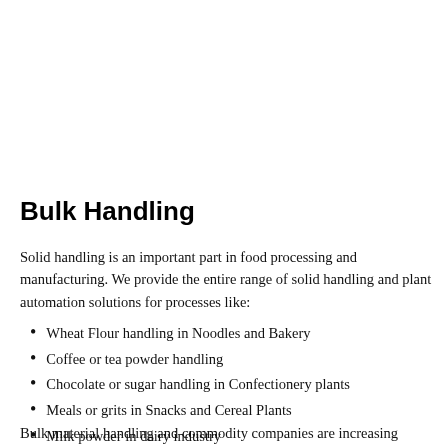Bulk Handling
Solid handling is an important part in food processing and manufacturing. We provide the entire range of solid handling and plant automation solutions for processes like:
Wheat Flour handling in Noodles and Bakery
Coffee or tea powder handling
Chocolate or sugar handling in Confectionery plants
Meals or grits in Snacks and Cereal Plants
Milk powder in dairy industry
Variety of powdered spices in Spice industry
Bulk material handling and commodity companies are increasing